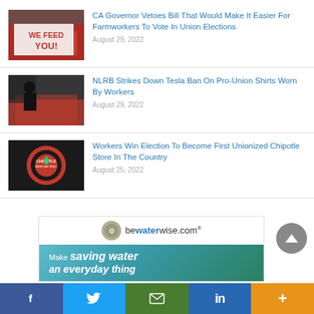[Figure (photo): Protest photo with sign reading WE FEED YOU]
CA Governor Vetoes Bill That Would Make It Easier For Farmworkers To Vote In Union Elections
August 29, 2022
[Figure (photo): Worker in black shirt working on a red car in a factory]
NLRB Strikes Down Tesla Ban On Pro-Union Shirts Worn By Workers
August 29, 2022
[Figure (photo): Chipotle Mexican Grill logo sign]
Workers Win Election To Become First Unionized Chipotle Store In The Country
August 25, 2022
[Figure (other): bewaterwise.com advertisement banner - Make saving water an everyday thing]
f  (Twitter bird)  (envelope)  in  +